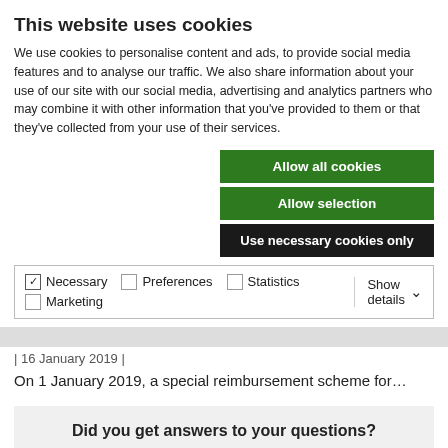This website uses cookies
We use cookies to personalise content and ads, to provide social media features and to analyse our traffic. We also share information about your use of our site with our social media, advertising and analytics partners who may combine it with other information that you've provided to them or that they've collected from your use of their services.
Allow all cookies
Allow selection
Use necessary cookies only
Necessary  Preferences  Statistics  Marketing  Show details
| 16 January 2019 |
On 1 January 2019, a special reimbursement scheme for…
Did you get answers to your questions?